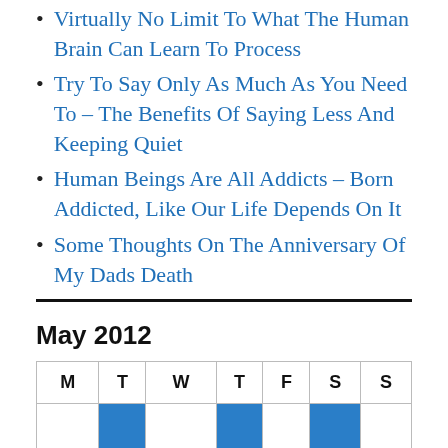Virtually No Limit To What The Human Brain Can Learn To Process
Try To Say Only As Much As You Need To – The Benefits Of Saying Less And Keeping Quiet
Human Beings Are All Addicts – Born Addicted, Like Our Life Depends On It
Some Thoughts On The Anniversary Of My Dads Death
May 2012
| M | T | W | T | F | S | S |
| --- | --- | --- | --- | --- | --- | --- |
|  |  |  |  |  |  |  |